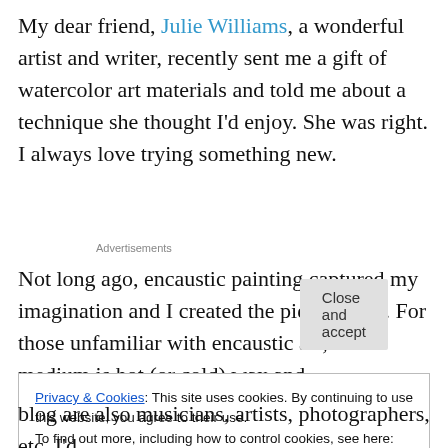My dear friend, Julie Williams, a wonderful artist and writer, recently sent me a gift of watercolor art materials and told me about a technique she thought I'd enjoy. She was right. I always love trying something new.
Advertisements
Not long ago, encaustic painting captured my imagination and I created the piece above. For those unfamiliar with encaustic art, the medium is hot (or cold) wax and
Privacy & Cookies: This site uses cookies. By continuing to use this website, you agree to their use.
To find out more, including how to control cookies, see here: Cookie Policy
Close and accept
blog are also musicians, artists, photographers, etc. I'd